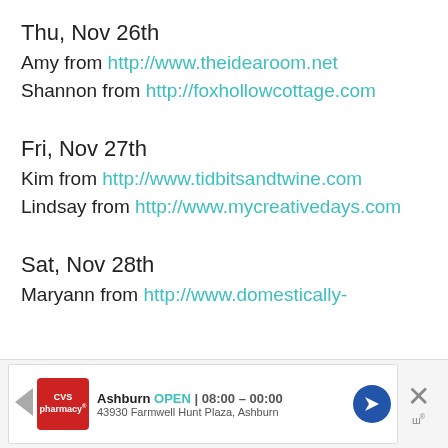Thu, Nov 26th
Amy from http://www.theidearoom.net
Shannon from http://foxhollowcottage.com
Fri, Nov 27th
Kim from http://www.tidbitsandtwine.com
Lindsay from http://www.mycreativedays.com
Sat, Nov 28th
Maryann from http://www.domestically-
[Figure (screenshot): CVS Pharmacy ad banner: Ashburn OPEN 08:00 - 00:00, 43930 Farmwell Hunt Plaza, Ashburn]